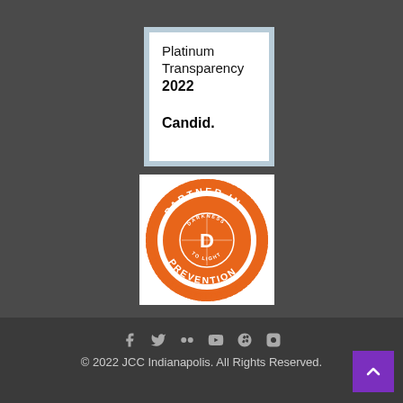[Figure (logo): Candid Platinum Transparency 2022 badge — white square with light blue border, text reading 'Platinum Transparency 2022' and 'Candid.']
[Figure (logo): Partner in Prevention badge — orange circular seal with serrated edge reading 'PARTNER IN PREVENTION' and inner circle with 'DARKNESS TO LIGHT' and a stylized D logo]
© 2022 JCC Indianapolis. All Rights Reserved.